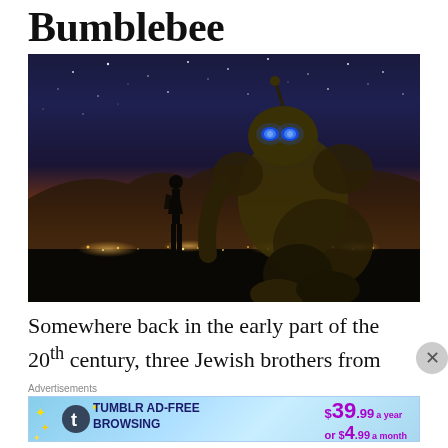Bumblebee
[Figure (photo): Movie still from Bumblebee showing a girl silhouette standing facing a large yellow robot (Bumblebee) with glowing blue eyes, set against a twilight/sunset sky with stars, city lights in the background and mountains on the horizon.]
Somewhere back in the early part of the 20th century, three Jewish brothers from
Advertisements
[Figure (infographic): Tumblr ad banner: 'TUMBLR AD-FREE BROWSING' with price $39.99 a year or $4.99 a month, light blue gradient background with sparkle decorations and Tumblr logo.]